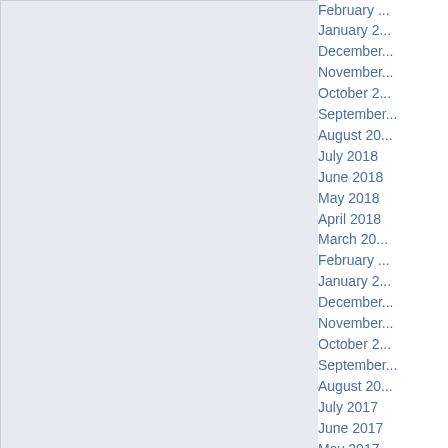February ...
January 2...
December...
November...
October 2...
September...
August 20...
July 2018
June 2018
May 2018
April 2018
March 20...
February ...
January 2...
December...
November...
October 2...
September...
August 20...
July 2017
June 2017
May 2017
April 2017
March 20...
February ...
January 2...
December...
November...
October 2...
September...
August 20...
July 2016
June 201...